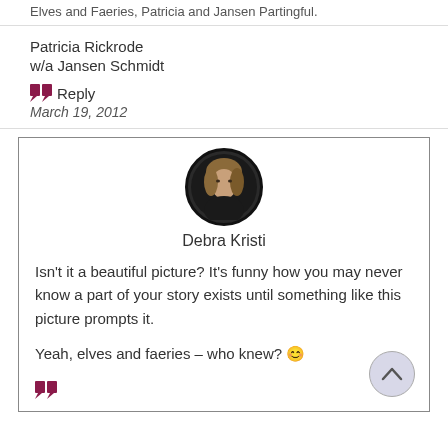Elves and Faeries, Patricia and Jansen Partingful.
Patricia Rickrode
w/a Jansen Schmidt
Reply
March 19, 2012
[Figure (photo): Circular avatar photo of Debra Kristi, a woman with light hair]
Debra Kristi
Isn't it a beautiful picture? It's funny how you may never know a part of your story exists until something like this picture prompts it.
Yeah, elves and faeries – who knew? 😊
Reply